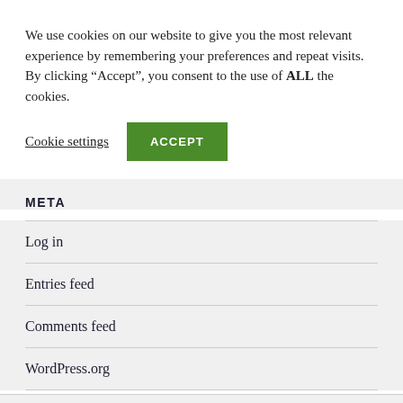We use cookies on our website to give you the most relevant experience by remembering your preferences and repeat visits. By clicking “Accept”, you consent to the use of ALL the cookies.
Cookie settings
ACCEPT
META
Log in
Entries feed
Comments feed
WordPress.org
TECH LINGO